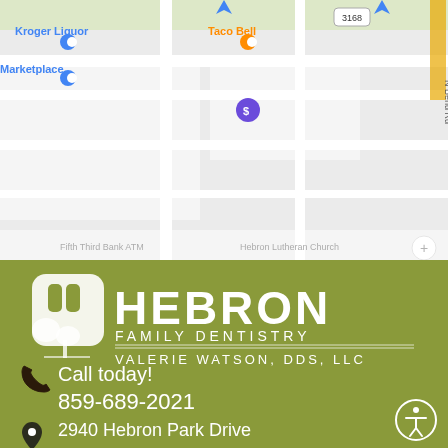[Figure (map): Google Maps screenshot showing local area with Kroger Liquor, Taco Bell, Marketplace, Fifth Third Bank ATM, Hebron Lutheran Church markers visible, with North Bend Rd and route 3168]
[Figure (logo): Hebron Family Dentistry logo - tooth/tree icon in white with olive green teeth on rounded square, text reads HEBRON FAMILY DENTISTRY VALERIE WATSON, DDS, LLC]
Call today!
859-689-2021
2940 Hebron Park Drive